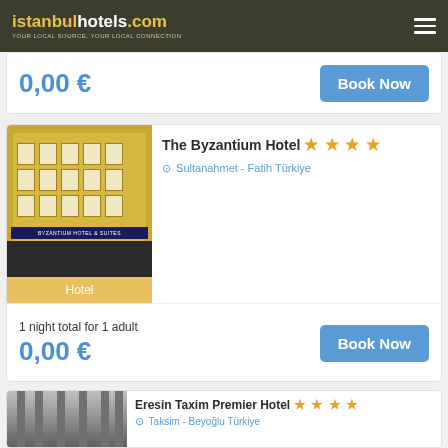istanbulhotels.com YOUR LOCAL SOURCE, YOUR LOCAL CONNECTION
0,00 €
Book Now
[Figure (photo): Exterior photo of The Byzantium Hotel building with yellow facade]
The Byzantium Hotel ★ ★ ★ ★
Sultanahmet - Fatih Türkiye
Hotel
1 night total for 1 adult
0,00 €
Book Now
[Figure (photo): Exterior photo of Eresin Taxim Premier Hotel]
Eresin Taxim Premier Hotel ★ ★ ★ ★
Taksim - Beyoğlu Türkiye